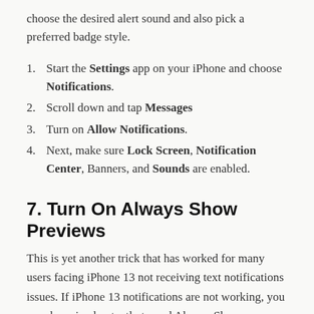choose the desired alert sound and also pick a preferred badge style.
Start the Settings app on your iPhone and choose Notifications.
Scroll down and tap Messages
Turn on Allow Notifications.
Next, make sure Lock Screen, Notification Center, Banners, and Sounds are enabled.
7. Turn On Always Show Previews
This is yet another trick that has worked for many users facing iPhone 13 not receiving text notifications issues. If iPhone 13 notifications are not working, you may have inadvertently turned Always Show Previews off in the Settings app. Notification